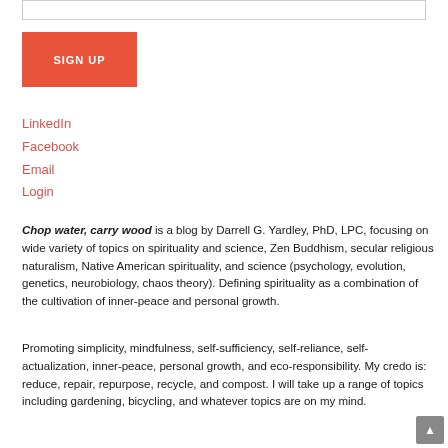[Figure (other): Empty input field (form element)]
[Figure (other): Red SIGN UP button]
LinkedIn
Facebook
Email
Login
Chop water, carry wood is a blog by Darrell G. Yardley, PhD, LPC, focusing on wide variety of topics on spirituality and science, Zen Buddhism, secular religious naturalism, Native American spirituality, and science (psychology, evolution, genetics, neurobiology, chaos theory). Defining spirituality as a combination of the cultivation of inner-peace and personal growth.
Promoting simplicity, mindfulness, self-sufficiency, self-reliance, self-actualization, inner-peace, personal growth, and eco-responsibility. My credo is: reduce, repair, repurpose, recycle, and compost. I will take up a range of topics including gardening, bicycling, and whatever topics are on my mind.